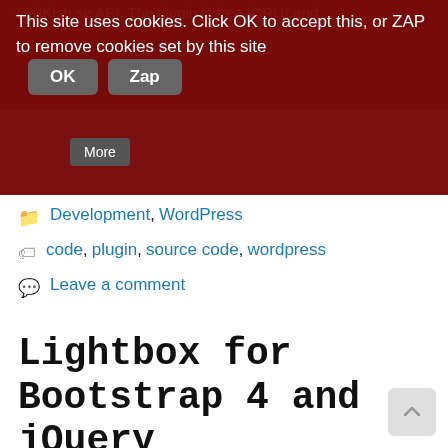[Figure (screenshot): Cookie consent banner overlay on dark red background with OK and Zap buttons]
Development, WordPress
code, plugin, source code, wordpress
Leave a comment
Lightbox for Bootstrap 4 and jQuery
31-May-2019
Lightbox (or “image preview”) functionality for Bootstrap 4 without additional libraries (apart